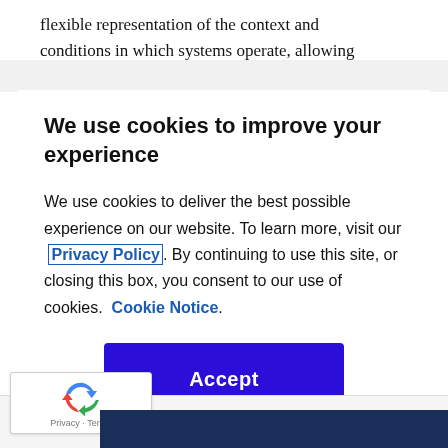flexible representation of the context and conditions in which systems operate, allowing
We use cookies to improve your experience
We use cookies to deliver the best possible experience on our website. To learn more, visit our Privacy Policy. By continuing to use this site, or closing this box, you consent to our use of cookies. Cookie Notice.
[Figure (other): Blue Accept button for cookie consent modal]
[Figure (logo): reCAPTCHA logo with Privacy and Terms text]